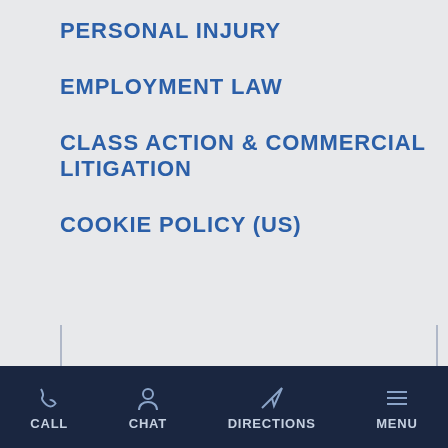PERSONAL INJURY
EMPLOYMENT LAW
CLASS ACTION & COMMERCIAL LITIGATION
COOKIE POLICY (US)
NEWS & CASE ALERTS
Read related articles and learn about recently filed
CALL  CHAT  DIRECTIONS  MENU